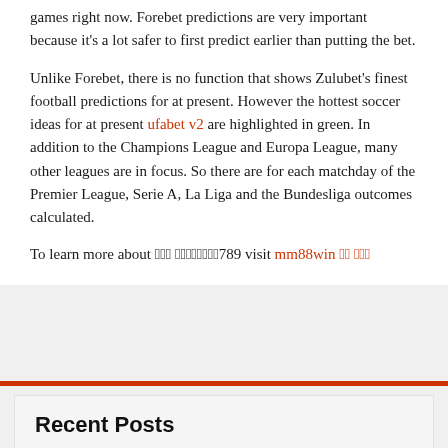games right now. Forebet predictions are very important because it's a lot safer to first predict earlier than putting the bet.
Unlike Forebet, there is no function that shows Zulubet's finest football predictions for at present. However the hottest soccer ideas for at present ufabet v2 are highlighted in green. In addition to the Champions League and Europa League, many other leagues are in focus. So there are for each matchday of the Premier League, Serie A, La Liga and the Bundesliga outcomes calculated.
To learn more about ??? ????????789 visit mm88win ?? ???
Recent Posts
Best Football Odds And Consultants Soccer Predictions